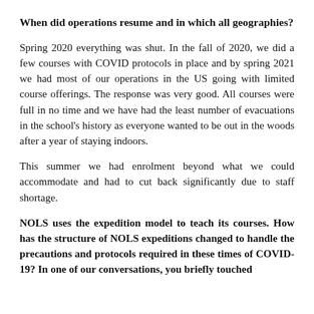When did operations resume and in which all geographies?
Spring 2020 everything was shut. In the fall of 2020, we did a few courses with COVID protocols in place and by spring 2021 we had most of our operations in the US going with limited course offerings. The response was very good. All courses were full in no time and we have had the least number of evacuations in the school's history as everyone wanted to be out in the woods after a year of staying indoors.
This summer we had enrolment beyond what we could accommodate and had to cut back significantly due to staff shortage.
NOLS uses the expedition model to teach its courses. How has the structure of NOLS expeditions changed to handle the precautions and protocols required in these times of COVID-19? In one of our conversations, you briefly touched